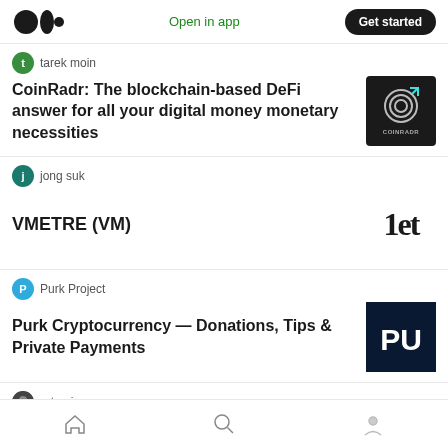Medium app header with logo, Open in app, Get started
tarek moin
CoinRadr: The blockchain-based DeFi answer for all your digital money monetary necessities
[Figure (logo): CoinRadr logo - circular target icon with COINRADR text]
jong suk
VMETRE (VM)
[Figure (logo): 1et logo in large black text]
Purk Project
Purk Cryptocurrency — Donations, Tips & Private Payments
[Figure (logo): PU logo on dark navy background]
artemis
AMAIADS AMA with Caran Mitaran (partially visible)
[Figure (photo): Dark image with CARS text, partially visible]
Bottom navigation: Home, Search, Profile